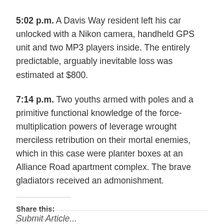5:02 p.m. A Davis Way resident left his car unlocked with a Nikon camera, handheld GPS unit and two MP3 players inside. The entirely predictable, arguably inevitable loss was estimated at $800.
7:14 p.m. Two youths armed with poles and a primitive functional knowledge of the force-multiplication powers of leverage wrought merciless retribution on their mortal enemies, which in this case were planter boxes at an Alliance Road apartment complex. The brave gladiators received an admonishment.
Share this:
Share
Submit Article...